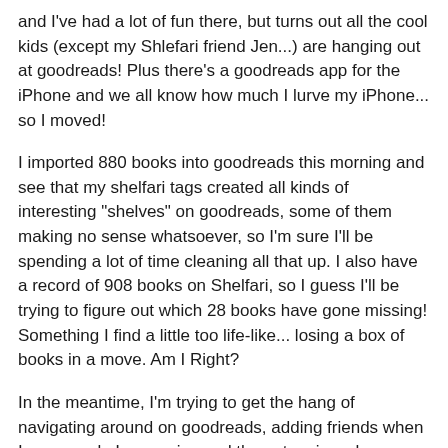and I've had a lot of fun there, but turns out all the cool kids (except my Shlefari friend Jen...) are hanging out at goodreads! Plus there's a goodreads app for the iPhone and we all know how much I lurve my iPhone... so I moved!
I imported 880 books into goodreads this morning and see that my shelfari tags created all kinds of interesting "shelves" on goodreads, some of them making no sense whatsoever, so I'm sure I'll be spending a lot of time cleaning all that up. I also have a record of 908 books on Shelfari, so I guess I'll be trying to figure out which 28 books have gone missing! Something I find a little too life-like... losing a box of books in a move. Am I Right?
In the meantime, I'm trying to get the hang of navigating around on goodreads, adding friends when I see people I recognize and then stopping when goodreads tells me I've reached the maximum number of friendship requests for the day. Clearly goodreads doesn't realize how popular I am and that yes, I should be able to add 50 friends in one day, not FIVE! ;)